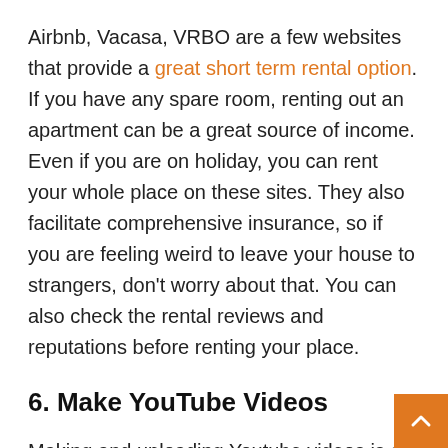Airbnb, Vacasa, VRBO are a few websites that provide a great short term rental option. If you have any spare room, renting out an apartment can be a great source of income. Even if you are on holiday, you can rent your whole place on these sites. They also facilitate comprehensive insurance, so if you are feeling weird to leave your house to strangers, don't worry about that. You can also check the rental reviews and reputations before renting your place.
6. Make YouTube Videos
Making and uploading Youtube videos is a venture and a rapidly growing way of passive income source. Create a video on any area which you like: music,